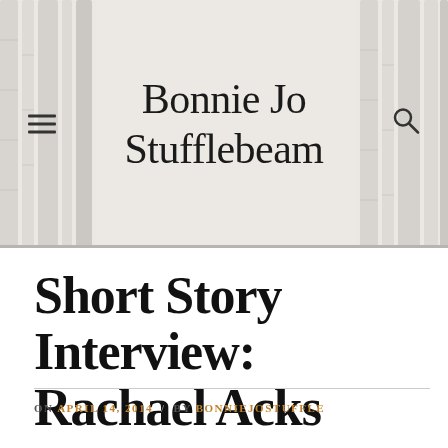Bonnie Jo Stufflebeam
Short Story Interview: Rachael Acks
ON APRIL 14, 2014 / BY BONNIEJOSTUFFLE